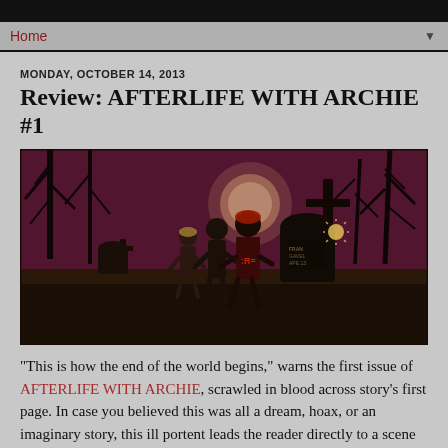Home
MONDAY, OCTOBER 14, 2013
Review: AFTERLIFE WITH ARCHIE #1
[Figure (illustration): Horror comic book cover art showing silhouettes of zombie figures walking through a dark graveyard at night with a large moon in a purple/pink sky, bare trees, and large stone crosses and tombstones. A figure in the center has a red letter R on their jacket.]
"This is how the end of the world begins," warns the first issue of AFTERLIFE WITH ARCHIE, scrawled in blood across story's first page. In case you believed this was all a dream, hoax, or an imaginary story, this ill portent leads the reader directly to a scene showing a crying, broken Jughead...